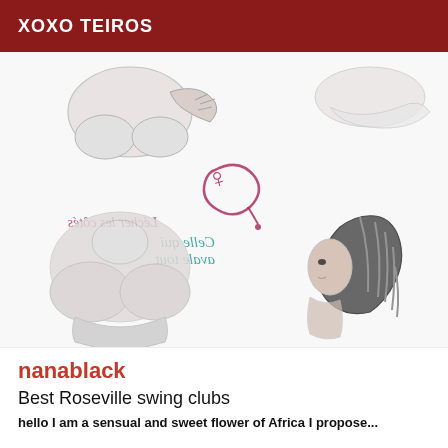XOXO TEIROS
[Figure (illustration): Erotic line art illustrations showing intimate figures with French text overlays: 'Celle qui avale tout' (teal, mirrored) and 'Lécher les côtés' (pink, mirrored). Sketched style with light grey shading.]
nanablack
Best Roseville swing clubs
hello I am a sensual and sweet flower of Africa I propose...